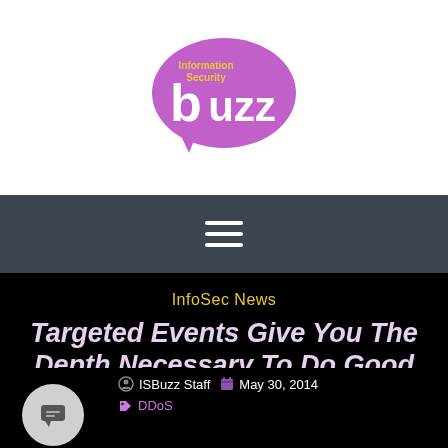[Figure (logo): Information Security Buzz logo — purple speech bubble with 'buzz' in large white lowercase text and 'Information Security' in yellow above]
[Figure (other): Navigation bar with hamburger menu icon (three white horizontal lines) on dark slate background]
InfoSec News
Targeted Events Give You The Depth Necessary To Do Good Security Things
ISBuzz Staff   May 30, 2014
DDoS